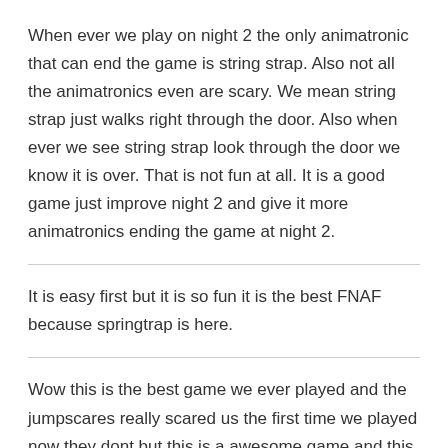When ever we play on night 2 the only animatronic that can end the game is string strap. Also not all the animatronics even are scary. We mean string strap just walks right through the door. Also when ever we see string strap look through the door we know it is over. That is not fun at all. It is a good game just improve night 2 and give it more animatronics ending the game at night 2.
It is easy first but it is so fun it is the best FNAF because springtrap is here.
Wow this is the best game we ever played and the jumpscares really scared us the first time we played now they dont but this is a awesome game and this will be our favorite game ever thanks for making this game has the best